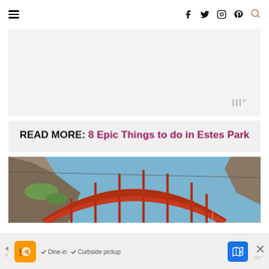Navigation header with hamburger menu and social icons: Facebook, Twitter, Instagram, Pinterest, Search
[Figure (other): Gray advertisement banner placeholder with watermark logo in bottom right]
READ MORE: 8 Epic Things to do in Estes Park
[Figure (photo): Photo of a red arch bridge spanning a canyon with rocky cliffs and blue sky]
[Figure (other): Bottom advertisement bar with pizza restaurant logo, Dine-in and Curbside pickup options, map navigation icon, and close button]